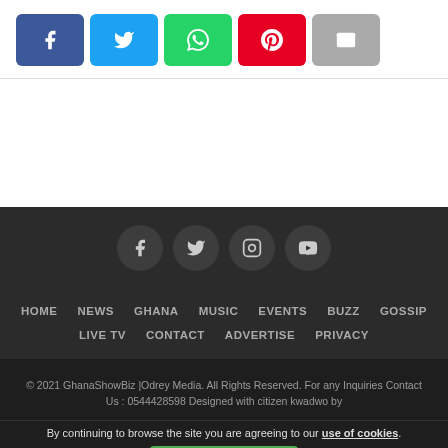[Figure (infographic): Social share buttons row: Facebook (blue), Twitter (light blue), WhatsApp (green), Pinterest (red), Email (gray)]
[Figure (infographic): Footer social media icon circles: Facebook, Twitter, Instagram, YouTube on dark background]
HOME   NEWS   GHANA   MUSIC   EVENTS   BUZZ   GOSSIP   LIVE TV   CONTACT   ADVERTISE   PRIVACY
© 2021 GhanaShowBiz |Odrey Media. All Rights Reserved. For any Inquiries Contact Us : 0544428598 Designed with citizen kwadwo by
By continuing to browse the site you are agreeing to our use of cookies.
I Understand